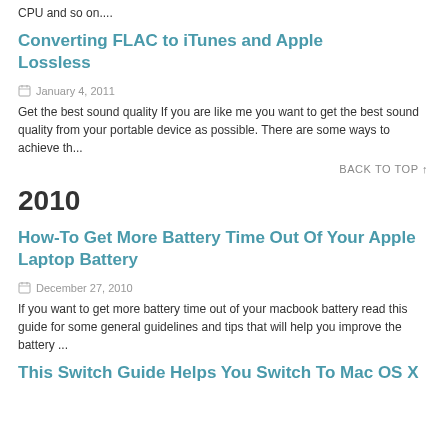CPU and so on....
Converting FLAC to iTunes and Apple Lossless
January 4, 2011
Get the best sound quality If you are like me you want to get the best sound quality from your portable device as possible. There are some ways to achieve th...
BACK TO TOP ↑
2010
How-To Get More Battery Time Out Of Your Apple Laptop Battery
December 27, 2010
If you want to get more battery time out of your macbook battery read this guide for some general guidelines and tips that will help you improve the battery ...
This Switch Guide Helps You Switch To Mac OS X